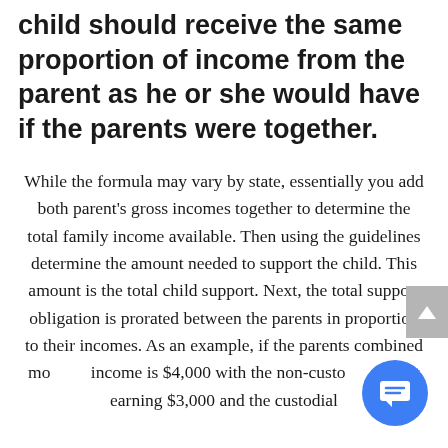child should receive the same proportion of income from the parent as he or she would have if the parents were together.
While the formula may vary by state, essentially you add both parent's gross incomes together to determine the total family income available. Then using the guidelines determine the amount needed to support the child. This amount is the total child support. Next, the total support obligation is prorated between the parents in proportion to their incomes. As an example, if the parents combined monthly income is $4,000 with the non-custodial parent earning $3,000 and the custodial